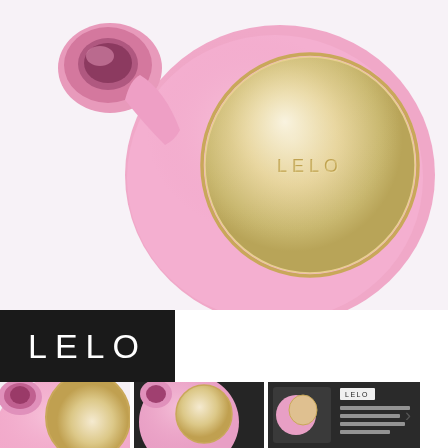[Figure (photo): LELO branded pink personal massager device shown at angle, featuring rounded pink silicone body with gold/champagne circular disc embossed with LELO logo on the back panel, with a nozzle opening at top left]
[Figure (logo): LELO brand logo — white letters on black background, large spaced lettering]
[Figure (photo): Thumbnail 1: Close-up front view of the pink LELO device nozzle and gold disc]
[Figure (photo): Thumbnail 2: LELO device shown on dark/black background at angle]
[Figure (photo): Thumbnail 3: LELO product packaging box with accessories shown on dark background]